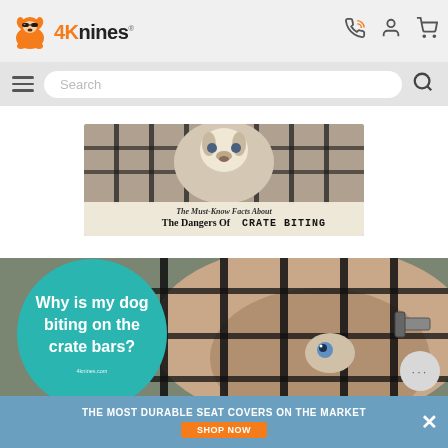[Figure (logo): 4Knines logo with cartoon dog wearing sunglasses and orange text]
[Figure (screenshot): Website navigation header with search bar, hamburger menu, phone, account, and cart icons]
[Figure (photo): Thumbnail image: Husky dog behind crate bars with overlay text 'The Must-Know Facts About The Dangers Of CRATE BITING']
[Figure (photo): Main article image: Australian Shepherd dog behind crate bars with teal circle overlay reading 'Why is my dog biting on the crate bars?' and 4knines.com credit]
[Figure (other): Chat button with ellipsis (...)]
THE MOST DURABLE SEAT COVERS ON THE MARKET
SHOP NOW